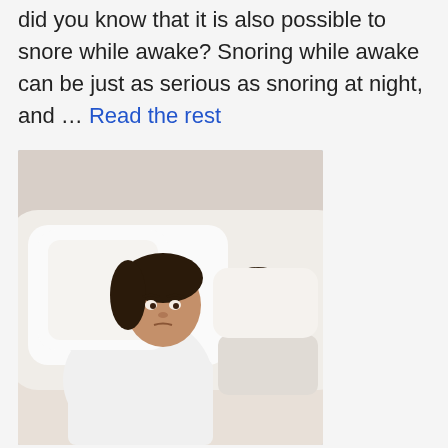did you know that it is also possible to snore while awake? Snoring while awake can be just as serious as snoring at night, and … Read the rest
[Figure (photo): A woman sitting up in bed looking distressed, holding a pillow over her ears, with a man sleeping in the background.]
Do you snore? If so, nasal strips may be the answer to your problem! Snoring can cause many problems for both you and your loved ones. It can lead to fatigue, irritability, and even health problems. Luckily, nasal strips can